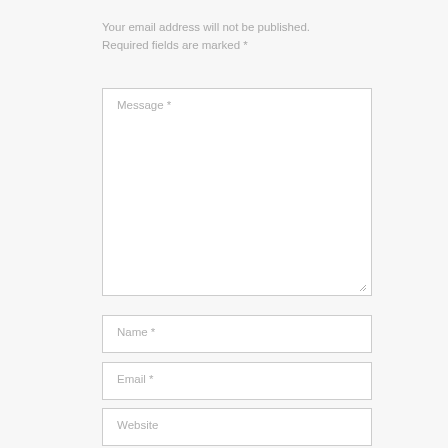Your email address will not be published. Required fields are marked *
[Figure (screenshot): Message text area input field with label 'Message *' and a resize handle at the bottom right corner]
[Figure (screenshot): Name text input field with label 'Name *']
[Figure (screenshot): Email text input field with label 'Email *']
[Figure (screenshot): Website text input field with label 'Website']